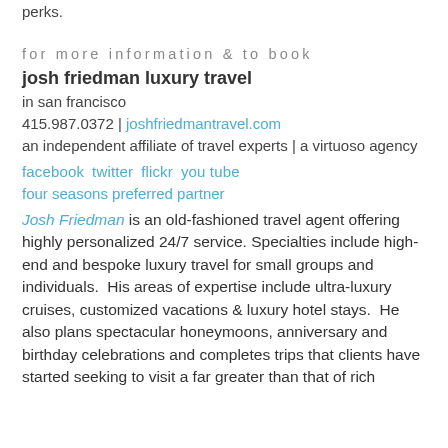perks.
for more information & to book
josh friedman luxury travel
in san francisco
415.987.0372 | joshfriedmantravel.com
an independent affiliate of travel experts | a virtuoso agency
facebook  twitter  flickr  you tube
four seasons preferred partner
Josh Friedman is an old-fashioned travel agent offering highly personalized 24/7 service. Specialties include high-end and bespoke luxury travel for small groups and individuals.  His areas of expertise include ultra-luxury cruises, customized vacations & luxury hotel stays.  He also plans spectacular honeymoons, anniversary and birthday celebrations and completes trips that clients have started seeking to visit a far greater than that of rich...